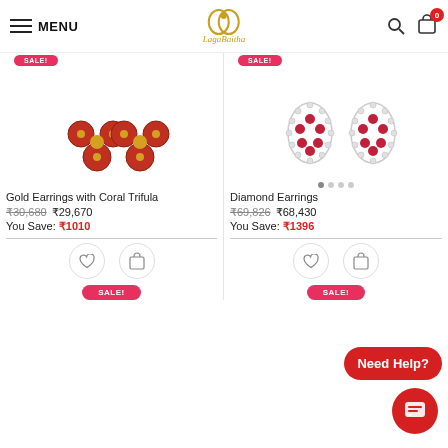MENU | LagaBaitha logo | search | cart 0
[Figure (photo): Gold Earrings with Coral Trifula — pair of gold earrings with three coral red beads arranged in triangle pattern]
Gold Earrings with Coral Trifula
₹30,680 ₹29,670 You Save: ₹1010
[Figure (photo): Diamond Earrings — pair of teardrop-shaped earrings with diamonds and ruby/pink stones]
Diamond Earrings
₹69,826 ₹68,430 You Save: ₹1396